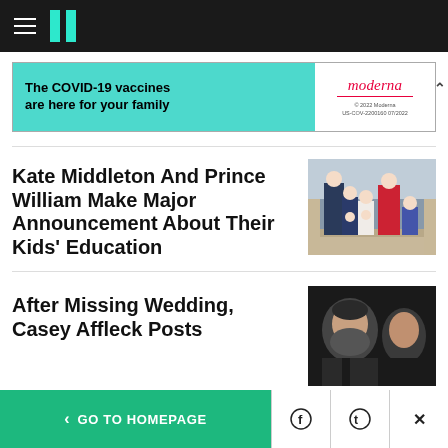HuffPost navigation bar with hamburger menu and logo
[Figure (screenshot): Moderna COVID-19 vaccine advertisement banner: teal left side with text 'The COVID-19 vaccines are here for your family', white right side with Moderna logo and fine print]
Kate Middleton And Prince William Make Major Announcement About Their Kids' Education
[Figure (photo): Photo of Prince William and Kate Middleton with their children on a balcony, children waving]
After Missing Wedding, Casey Affleck Posts
[Figure (photo): Photo of Casey Affleck with another man, dark background]
< GO TO HOMEPAGE  [Facebook] [Twitter] [X]